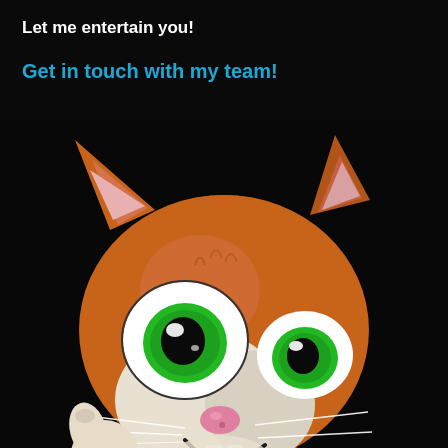Let me entertain you!
Get in touch with my team!
[Figure (illustration): 3D animated cartoon cat with orange fur, big green eyes, pink nose, smiling expression, giving a thumbs up gesture, on black background]